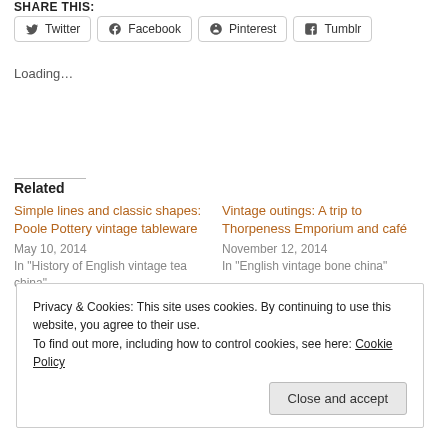SHARE THIS:
Twitter
Facebook
Pinterest
Tumblr
Loading...
Related
Simple lines and classic shapes: Poole Pottery vintage tableware
May 10, 2014
In "History of English vintage tea china"
Vintage outings: A trip to Thorpeness Emporium and café
November 12, 2014
In "English vintage bone china"
Privacy & Cookies: This site uses cookies. By continuing to use this website, you agree to their use.
To find out more, including how to control cookies, see here: Cookie Policy
Close and accept